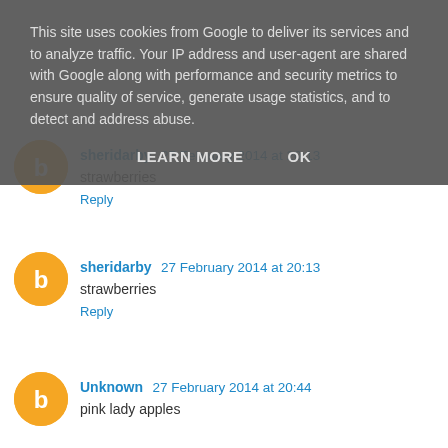This site uses cookies from Google to deliver its services and to analyze traffic. Your IP address and user-agent are shared with Google along with performance and security metrics to ensure quality of service, generate usage statistics, and to detect and address abuse.
LEARN MORE   OK
sheridarby 27 February 2014 at 20:13
strawberries
Reply
sheridarby 27 February 2014 at 20:13
strawberries
Reply
Unknown 27 February 2014 at 20:44
pink lady apples